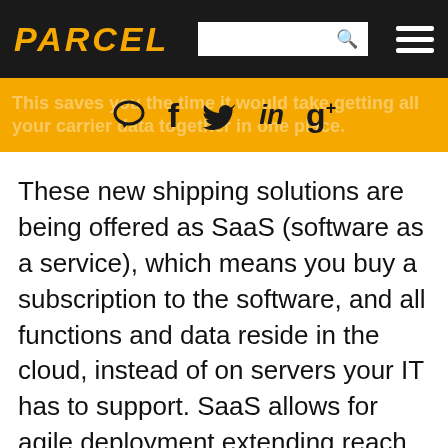PARCEL
This saves you the time it would take getting all your carrier data together in one place.
These new shipping solutions are being offered as SaaS (software as a service), which means you buy a subscription to the software, and all functions and data reside in the cloud, instead of on servers your IT has to support. SaaS allows for agile deployment extending reach across the enterprise without a heavy IT implementation, which making it far more cost effective upfront. Not only is it more cost effective, it creates a